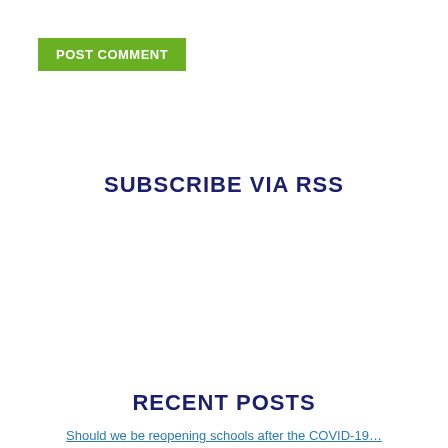POST COMMENT
SUBSCRIBE VIA RSS
RECENT POSTS
Should we be reopening schools after the COVID-19…